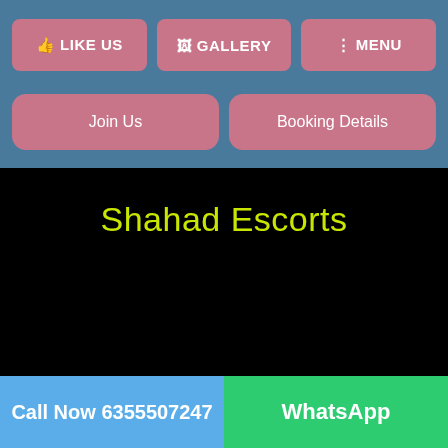LIKE US | GALLERY | MENU
Join Us | Booking Details
Shahad Escorts
Call Now 6355507247
WhatsApp